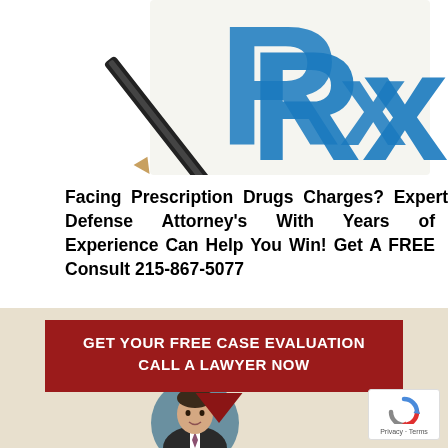[Figure (photo): Prescription pad with large blue Rx symbol and fields for Name, Address, Date]
Facing Prescription Drugs Charges? Expert Drug Defense Attorney's With Years of Experience Can Help You Win! Get A FREE Consult 215-867-5077
[Figure (infographic): Red banner with white text 'GET YOUR FREE CASE EVALUATION CALL A LAWYER NOW' with downward arrow, on beige background with circular photo of a lawyer in a suit]
[Figure (logo): Google reCAPTCHA badge with Privacy and Terms links]